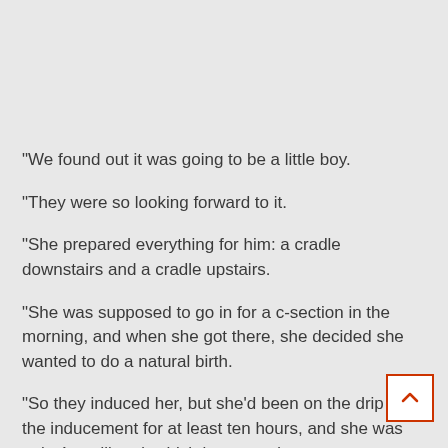"We found out it was going to be a little boy.
"They were so looking forward to it.
"She prepared everything for him: a cradle downstairs and a cradle upstairs.
"She was supposed to go in for a c-section in the morning, and when she got there, she decided she wanted to do a natural birth.
"So they induced her, but she'd been on the drip for the inducement for at least ten hours, and she was only 4cm dilated, which is no good.